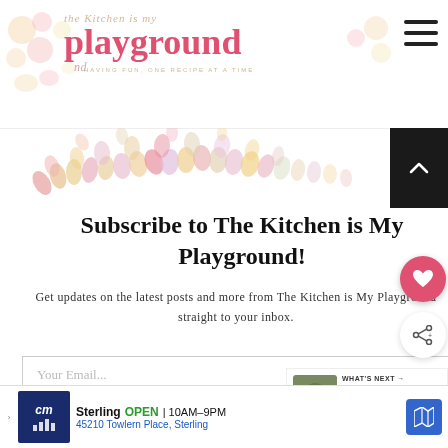The Kitchen is My Playground — HAVING FUN, ONE RECIPE AT A TIME
[Figure (illustration): Decorative floral/petal pattern banner in pink, peach, and yellow tones]
Subscribe to The Kitchen is My Playground!
Get updates on the latest posts and more from The Kitchen is My Playground straight to your inbox.
Your Email...
SUBSCRIBE
WHAT'S NEXT → Maple-Glazed Brussels...
Sterling  OPEN  10AM–9PM  45210 Towlern Place, Sterling